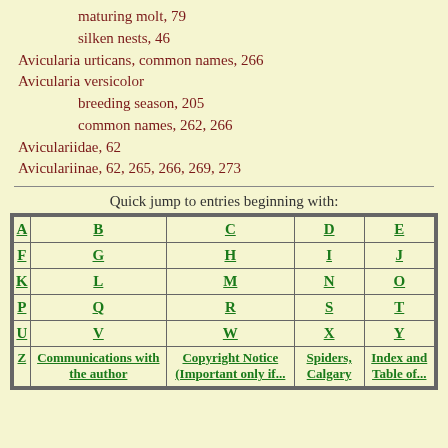maturing molt, 79
silken nests, 46
Avicularia urticans, common names, 266
Avicularia versicolor
breeding season, 205
common names, 262, 266
Aviculariidae, 62
Aviculariinae, 62, 265, 266, 269, 273
Quick jump to entries beginning with:
| A | B | C | D | E |
| --- | --- | --- | --- | --- |
| F | G | H | I | J |
| K | L | M | N | O |
| P | Q | R | S | T |
| U | V | W | X | Y |
| Z | Communications with the author | Copyright Notice (Important only if... | Spiders, Calgary | Index and Table of... |